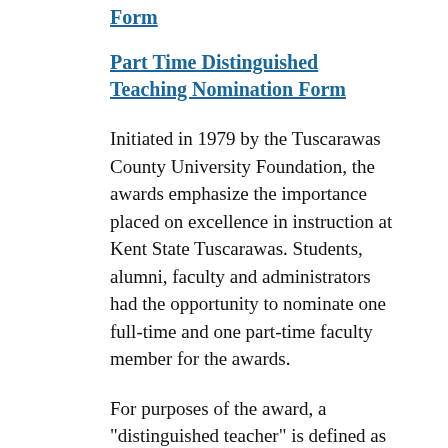Form
Part Time Distinguished Teaching Nomination Form
Initiated in 1979 by the Tuscarawas County University Foundation, the awards emphasize the importance placed on excellence in instruction at Kent State Tuscarawas. Students, alumni, faculty and administrators had the opportunity to nominate one full-time and one part-time faculty member for the awards.
For purposes of the award, a "distinguished teacher" is defined as one who possesses a comprehensive knowledge of the subject matter, organizes and presents the subject